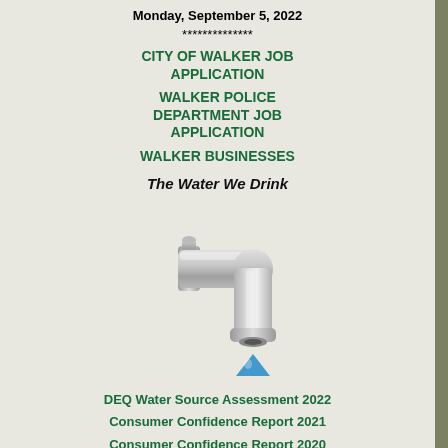Monday, September 5, 2022
**************
CITY OF WALKER JOB APPLICATION
WALKER POLICE DEPARTMENT JOB APPLICATION
WALKER BUSINESSES
The Water We Drink
[Figure (illustration): Illustration of a water faucet/tap with a blue water droplet below it]
DEQ Water Source Assessment 2022
Consumer Confidence Report 2021
Consumer Confidence Report 2020
Consumer Confidence Report 2019
Cross Connection Control - Appendix D (Louisiana State Plumbing Code)
Part XIV (Plumbing) Title 51 (Public